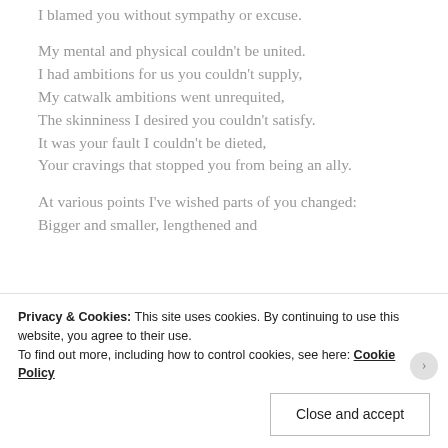I blamed you without sympathy or excuse.
My mental and physical couldn't be united.
I had ambitions for us you couldn't supply,
My catwalk ambitions went unrequited,
The skinniness I desired you couldn't satisfy.
It was your fault I couldn't be dieted,
Your cravings that stopped you from being an ally.
At various points I've wished parts of you changed:
Bigger and smaller, lengthened and
Privacy & Cookies: This site uses cookies. By continuing to use this website, you agree to their use.
To find out more, including how to control cookies, see here: Cookie Policy
Close and accept